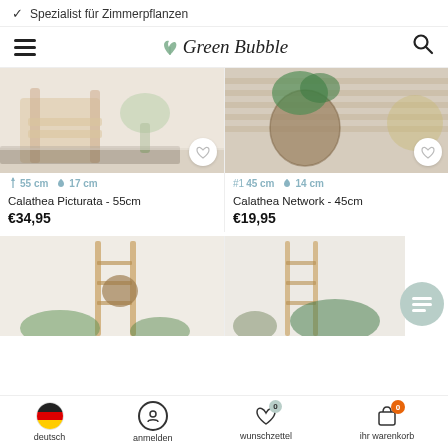✓ Spezialist für Zimmerpflanzen
[Figure (screenshot): Green Bubble website navigation bar with hamburger menu, cursive Green Bubble logo with leaf, and search icon]
[Figure (photo): Calathea Picturata plant 55cm in rattan chair setting - product photo with heart wishlist button]
↑ 55 cm  🌱 17 cm
Calathea Picturata - 55cm
€34,95
[Figure (photo): Calathea Network 45cm plant in woven basket on wooden surface - product photo with heart wishlist button]
#1 45 cm  🌱 14 cm
Calathea Network - 45cm
€19,95
[Figure (photo): Plant product bottom row left - bamboo ladder with hanging woven basket and plants]
[Figure (photo): Plant product bottom row right - bamboo ladder with plants including Calathea]
deutsch   anmelden   wunschzettel   ihr warenkorb